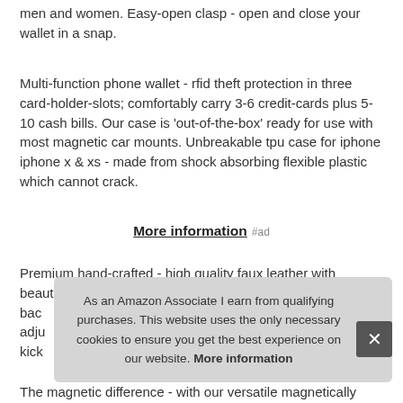men and women. Easy-open clasp - open and close your wallet in a snap.
Multi-function phone wallet - rfid theft protection in three card-holder-slots; comfortably carry 3-6 credit-cards plus 5-10 cash bills. Our case is 'out-of-the-box' ready for use with most magnetic car mounts. Unbreakable tpu case for iphone iphone x & xs - made from shock absorbing flexible plastic which cannot crack.
More information #ad
Premium hand-crafted - high quality faux leather with beautiful stitching ... back ... adjustable ... kick
As an Amazon Associate I earn from qualifying purchases. This website uses the only necessary cookies to ensure you get the best experience on our website. More information
The magnetic difference - with our versatile magnetically